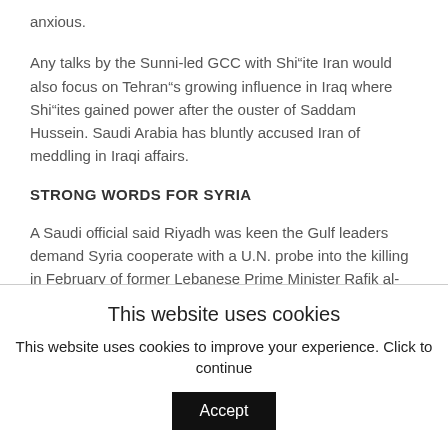anxious.
Any talks by the Sunni-led GCC with Shi”ite Iran would also focus on Tehran”s growing influence in Iraq where Shi”ites gained power after the ouster of Saddam Hussein. Saudi Arabia has bluntly accused Iran of meddling in Iraqi affairs.
STRONG WORDS FOR SYRIA
A Saudi official said Riyadh was keen the Gulf leaders demand Syria cooperate with a U.N. probe into the killing in February of former Lebanese Prime Minister Rafik al-Hariri, who enjoyed close ties with the kingdom.
This website uses cookies
This website uses cookies to improve your experience. Click to continue
Accept